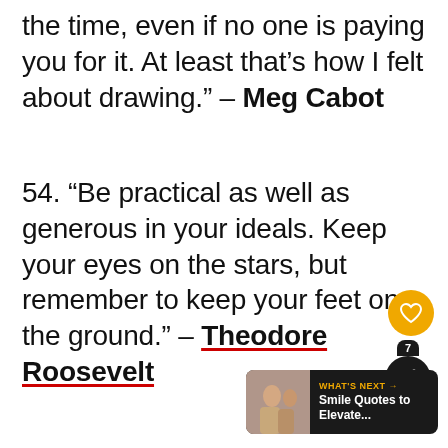the time, even if no one is paying you for it. At least that’s how I felt about drawing.” – Meg Cabot
54. “Be practical as well as generous in your ideals. Keep your eyes on the stars, but remember to keep your feet on the ground.” – Theodore Roosevelt